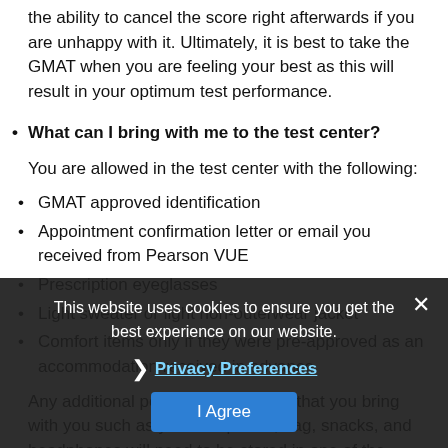the ability to cancel the score right afterwards if you are unhappy with it. Ultimately, it is best to take the GMAT when you are feeling your best as this will result in your optimum test performance.
What can I bring with me to the test center?
You are allowed in the test center with the following:
GMAT approved identification
Appointment confirmation letter or email you received from Pearson VUE
Prescription eyeglasses
Light sweater or light non-outerwear jacket
Comfort items only if they were pre-approved as an accommodation received in advance
Any additional personal belongings that you bring with you such as your cell phone, bag, snacks, and headphones will need to be stored in one of the provided lockers. You may eat your snack during the
This website uses cookies to ensure you get the best experience on our website.
Privacy Preferences
I Agree